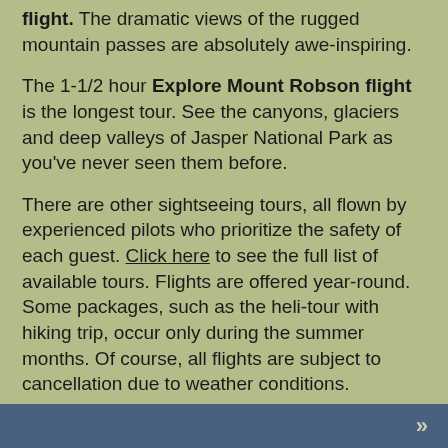flight. The dramatic views of the rugged mountain passes are absolutely awe-inspiring.
The 1-1/2 hour Explore Mount Robson flight is the longest tour. See the canyons, glaciers and deep valleys of Jasper National Park as you've never seen them before.
There are other sightseeing tours, all flown by experienced pilots who prioritize the safety of each guest. Click here to see the full list of available tours. Flights are offered year-round. Some packages, such as the heli-tour with hiking trip, occur only during the summer months. Of course, all flights are subject to cancellation due to weather conditions.
High Country Helicopter Tours also offer custom flights for personal or business-related gatherings. Just think of having a helicopter flight for your wedding, anniversary, company retreat or family trip! Combined with a stay at Mountain River Lodge, it would be an unforgettable experience.
Helicopters seat four guests in the Bell Jet Ranger or
»